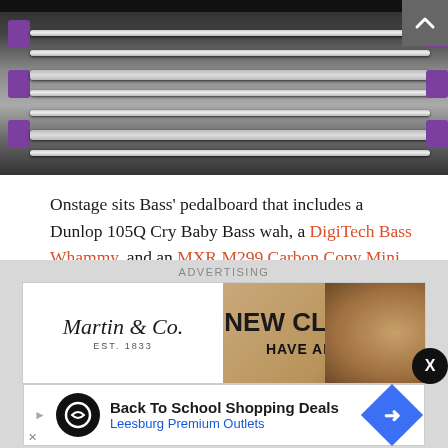[Figure (photo): Close-up photo of a guitar pedalboard with purple cable clips and metal guitar strings or bars, inside a dark case]
Onstage sits Bass' pedalboard that includes a Dunlop 105Q Cry Baby Bass wah, a DigiTech Bass Whammy, and an MXR M299 Carbon Copy Mini Analog Delay. The 'Gas' switch engages the Mojotone Deacon, a Radial SGI-44 1-channel Studio Guitar Interface connects with his rackmount JX44, the BossTU-3W Waza Craft Chromatic Tuner keeps his instruments in check, and a hidden Voodoo Lab Pedal Power 2 Plus feeds juice to everything.
ADVERTISING
[Figure (photo): Martin & Co. EST. 1833 advertisement banner reading NEW CLASSICS HAVE ARRIVED with guitar imagery]
[Figure (photo): Back To School Shopping Deals - Leesburg Premium Outlets advertisement banner]